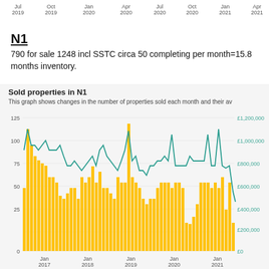[Figure (other): Partial top x-axis labels from a chart above: Jul 2019, Oct 2019, Jan 2020, Apr 2020, Jul 2020, Oct 2020, Jan 2021, Apr 2021]
N1
790 for sale 1248 incl SSTC circa 50 completing per month=15.8 months inventory.
[Figure (grouped-bar-chart): This graph shows changes in the number of properties sold each month and their average price. Bar chart (orange) shows count on left axis (0-125), line chart (teal) shows price on right axis (£0-£1,200,000). X-axis spans 2017 to 2021 with Jan labels each year.]